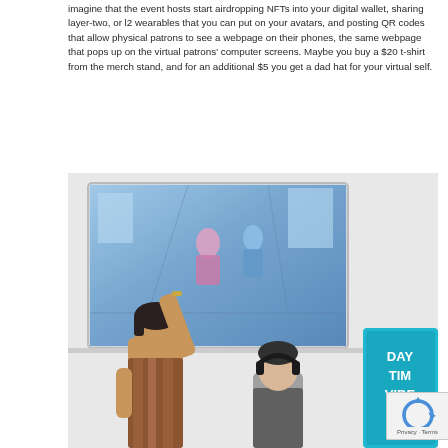imagine that the event hosts start airdropping NFTs into your digital wallet, sharing layer-two, or l2 wearables that you can put on your avatars, and posting QR codes that allow physical patrons to see a webpage on their phones, the same webpage that pops up on the virtual patrons' computer screens. Maybe you buy a $20 t-shirt from the merch stand, and for an additional $5 you get a dad hat for your virtual self.
[Figure (photo): An event/venue scene with a person raising their arm near a large screen showing a virtual/metaverse environment with avatars. Another person with headphones is visible. A neon sign reading 'DAY TIME VIBES' is partially visible on the right.]